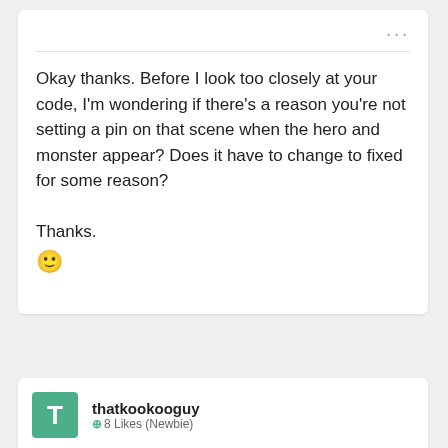Okay thanks. Before I look too closely at your code, I'm wondering if there's a reason you're not setting a pin on that scene when the hero and monster appear? Does it have to change to fixed for some reason?

Thanks.
🙂
thatkookooguy  ⊕ 8 Likes (Newbie)